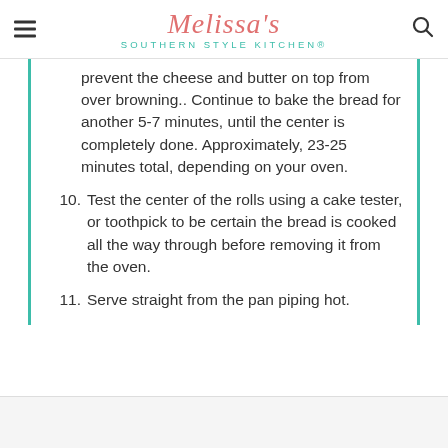Melissa's Southern Style Kitchen®
prevent the cheese and butter on top from over browning.. Continue to bake the bread for another 5-7 minutes, until the center is completely done. Approximately, 23-25 minutes total, depending on your oven.
10. Test the center of the rolls using a cake tester, or toothpick to be certain the bread is cooked all the way through before removing it from the oven.
11. Serve straight from the pan piping hot.